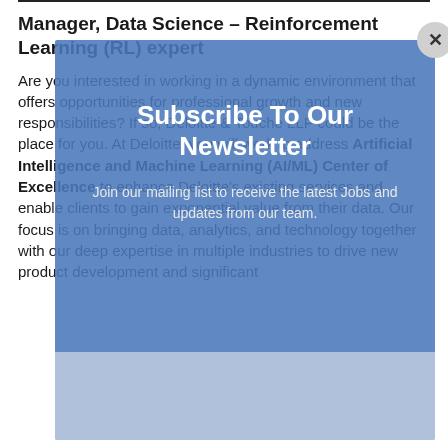Manager, Data Science – Reinforcement Learning (RL) expert
Are you interested in working in a dynamic environment that offers opportunities for professional growth and new responsibilities? If so, Deloitte & Touche LLP could be the place for you. At Deloitte, you will work to address Artificial Intelligence and Machine Learning (AI/ML) Center of Excellence to enhance Deloitte's existing services and enable clients to gain exponential value from their data. Our focus is on bringing data, analytics, and technology together with our deep expertise in multiple industries to drive new product development and significant
[Figure (infographic): Modal popup overlay with blue background containing 'Subscribe To Our Newsletter' title and subtitle 'Join our mailing list to receive the latest Jobs and updates from our team.' with a close (X) button in the top right corner and a light-colored input area at the bottom.]